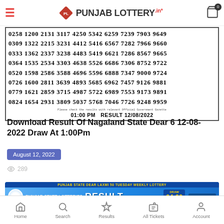PL PunjabLottery.in
[Figure (other): Lottery result numbers table for Nagaland State Dear 6 draw at 1:00 PM on 12/08/2022, showing rows of 4-digit numbers]
Download Result Of Nagaland State Dear 6 12-08-2022 Draw At 1:00Pm
August 12, 2022
289
[Figure (other): Punjab State Lotteries advertisement banner for Punjab State Dear Laxmi 50 Tuesday Weekly Lottery, Draw at 04:00 PM, MRP: Rs.50/-, Draw Date: 09/08/2022]
Home  Search  Results  All Tickets  Account